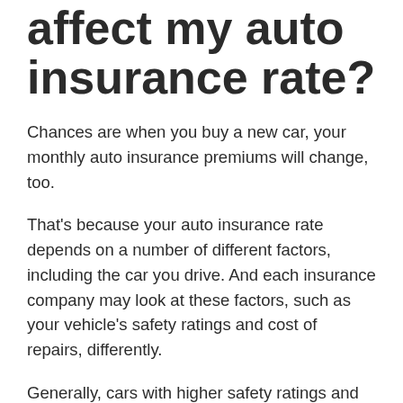affect my auto insurance rate?
Chances are when you buy a new car, your monthly auto insurance premiums will change, too.
That's because your auto insurance rate depends on a number of different factors, including the car you drive. And each insurance company may look at these factors, such as your vehicle's safety ratings and cost of repairs, differently.
Generally, cars with higher safety ratings and anti-theft devices can help lower your rate. But those features could be more expensive to repair after an accident, too. On the other hand, older cars may be